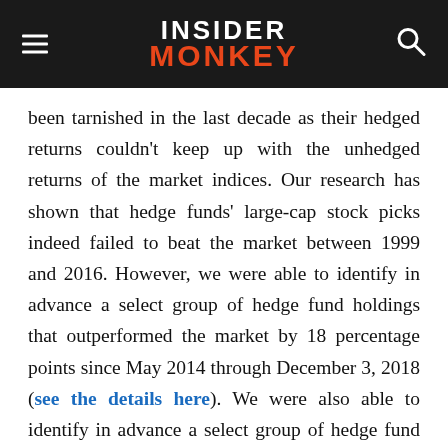INSIDER MONKEY
been tarnished in the last decade as their hedged returns couldn't keep up with the unhedged returns of the market indices. Our research has shown that hedge funds' large-cap stock picks indeed failed to beat the market between 1999 and 2016. However, we were able to identify in advance a select group of hedge fund holdings that outperformed the market by 18 percentage points since May 2014 through December 3, 2018 (see the details here). We were also able to identify in advance a select group of hedge fund holdings that'll significantly underperform the market. We have been tracking and sharing the list of these stocks since February 2017 and they lost